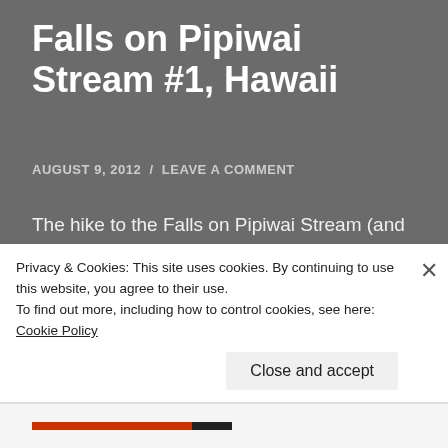Falls on Pipiwai Stream #1, Hawaii
AUGUST 9, 2012  /  LEAVE A COMMENT
The hike to the Falls on Pipiwai Stream (and Waimoku Falls further upstream) is not really difficult. It’s getting to the point where you can hike in the first place that poses the real challenge…And it’s an intense one.
Haleakala National Park has a number of distinct
Privacy & Cookies: This site uses cookies. By continuing to use this website, you agree to their use.
To find out more, including how to control cookies, see here: Cookie Policy
Close and accept